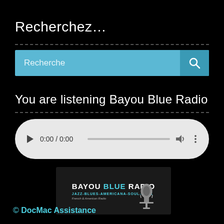Recherchez…
[Figure (screenshot): Search bar with light blue background, placeholder text 'Recherche' on the left and a magnifying glass icon on the right]
You are listening Bayou Blue Radio
[Figure (screenshot): Audio player widget with play button, time display '0:00 / 0:00', progress bar, volume icon, and menu icon on white rounded background]
[Figure (logo): Bayou Blue Radio logo: dark background with text 'BAYOU BLUE RADIO' in white and cyan, subtitle 'JAZZ-BLUES-AMERICANA-SOUL-FUNK', 'French & American Radio', with a vintage microphone image]
© DocMac Assistance